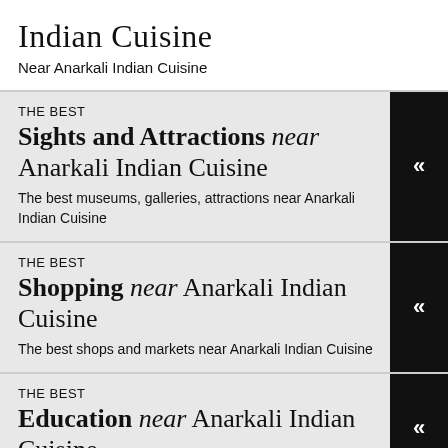Indian Cuisine
Near Anarkali Indian Cuisine
THE BEST
Sights and Attractions near Anarkali Indian Cuisine
The best museums, galleries, attractions near Anarkali Indian Cuisine
THE BEST
Shopping near Anarkali Indian Cuisine
The best shops and markets near Anarkali Indian Cuisine
THE BEST
Education near Anarkali Indian Cuisine